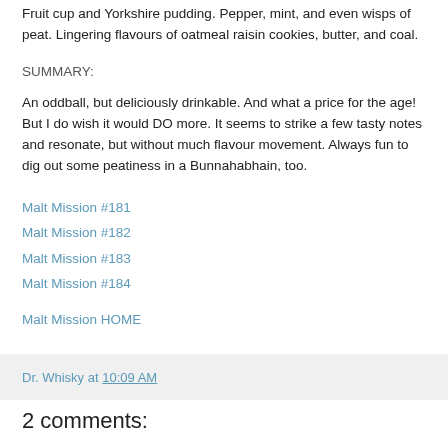Fruit cup and Yorkshire pudding. Pepper, mint, and even wisps of peat. Lingering flavours of oatmeal raisin cookies, butter, and coal.
SUMMARY:
An oddball, but deliciously drinkable. And what a price for the age! But I do wish it would DO more. It seems to strike a few tasty notes and resonate, but without much flavour movement. Always fun to dig out some peatiness in a Bunnahabhain, too.
Malt Mission #181
Malt Mission #182
Malt Mission #183
Malt Mission #184
Malt Mission HOME
Dr. Whisky at 10:09 AM
2 comments: